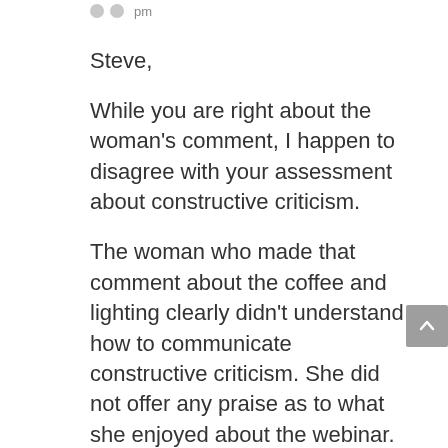pm
Steve,
While you are right about the woman's comment, I happen to disagree with your assessment about constructive criticism.
The woman who made that comment about the coffee and lighting clearly didn't understand how to communicate constructive criticism. She did not offer any praise as to what she enjoyed about the webinar. Then, she did not offer any suggestions to improve. What she offered was tactless and blunt negative criticism, which can hinder growth and breed a lot of petty bickering and